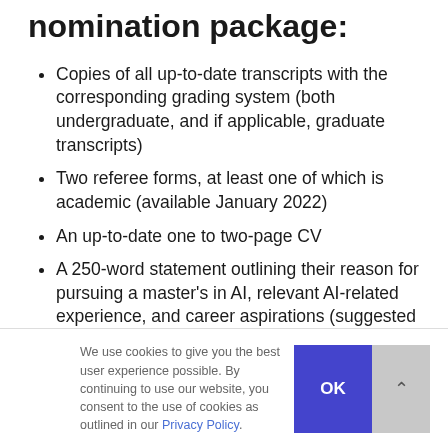nomination package:
Copies of all up-to-date transcripts with the corresponding grading system (both undergraduate, and if applicable, graduate transcripts)
Two referee forms, at least one of which is academic (available January 2022)
An up-to-date one to two-page CV
A 250-word statement outlining their reason for pursuing a master's in AI, relevant AI-related experience, and career aspirations (suggested template available January 2022)
We use cookies to give you the best user experience possible. By continuing to use our website, you consent to the use of cookies as outlined in our Privacy Policy.